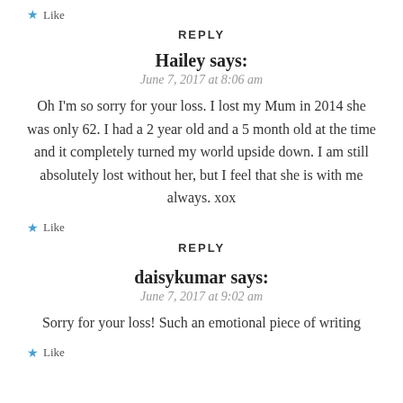★ Like
REPLY
Hailey says:
June 7, 2017 at 8:06 am
Oh I'm so sorry for your loss. I lost my Mum in 2014 she was only 62. I had a 2 year old and a 5 month old at the time and it completely turned my world upside down. I am still absolutely lost without her, but I feel that she is with me always. xox
★ Like
REPLY
daisykumar says:
June 7, 2017 at 9:02 am
Sorry for your loss! Such an emotional piece of writing
★ Like